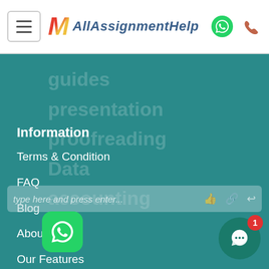[Figure (logo): AllAssignmentHelp logo with hamburger menu, M logo mark in red/yellow, teal text, whatsapp and phone icons]
Information
Terms & Condition
FAQ
Blog
About Us
Our Features
Our Tutors
Resources
User Reviews
Count Words
Samples
Get Free Quote
Services